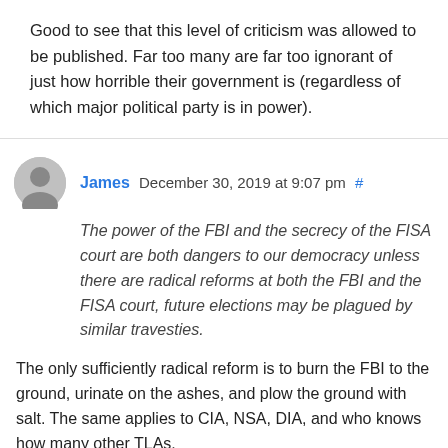Good to see that this level of criticism was allowed to be published. Far too many are far too ignorant of just how horrible their government is (regardless of which major political party is in power).
James December 30, 2019 at 9:07 pm #
The power of the FBI and the secrecy of the FISA court are both dangers to our democracy unless there are radical reforms at both the FBI and the FISA court, future elections may be plagued by similar travesties.
The only sufficiently radical reform is to burn the FBI to the ground, urinate on the ashes, and plow the ground with salt. The same applies to CIA, NSA, DIA, and who knows how many other TLAs.
I can't think of a single valid reason for the government to have secrets from the American people. Lots of bad reasons, but no good ones. The existence of these sinister